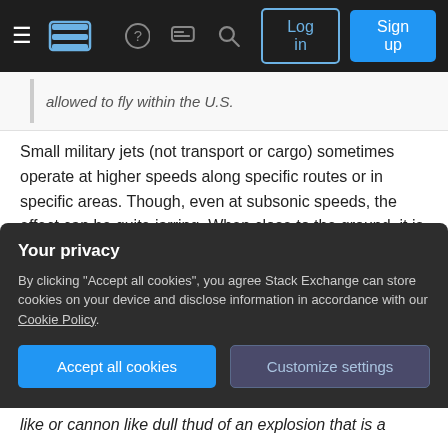Stack Exchange navigation bar with hamburger menu, logo, help, chat, search icons, Log in and Sign up buttons
allowed to fly within the U.S.
Small military jets (not transport or cargo) sometimes operate at higher speeds along specific routes or in specific areas. Though, even at subsonic speeds, the effect can be quite jarring. When close to the ground, it is almost like a fighter jet is sneaking up on you in silent mode until it passes you in a great and sudden cacophony of sound. You don't hear it coming, then BOOM! Unfortunately, that is still not a sonic boom. Just
Your privacy
By clicking "Accept all cookies", you agree Stack Exchange can store cookies on your device and disclose information in accordance with our Cookie Policy.
like or cannon like dull thud of an explosion that is a